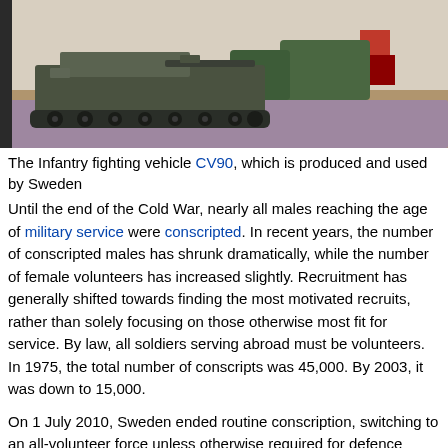[Figure (photo): Infantry fighting vehicle CV90, a tracked armored military vehicle photographed outdoors in a field with purple heather flowers]
The Infantry fighting vehicle CV90, which is produced and used by Sweden
Until the end of the Cold War, nearly all males reaching the age of military service were conscripted. In recent years, the number of conscripted males has shrunk dramatically, while the number of female volunteers has increased slightly. Recruitment has generally shifted towards finding the most motivated recruits, rather than solely focusing on those otherwise most fit for service. By law, all soldiers serving abroad must be volunteers. In 1975, the total number of conscripts was 45,000. By 2003, it was down to 15,000.
On 1 July 2010, Sweden ended routine conscription, switching to an all-volunteer force unless otherwise required for defence readiness.[193][194][195] Emphasis was to be placed on only recruiting those later prepared to volunteer for international